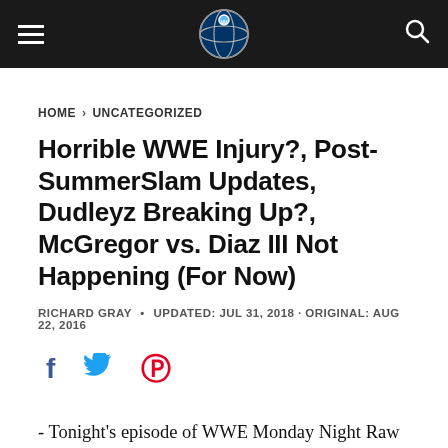Wrestling News World
HOME > UNCATEGORIZED
Horrible WWE Injury?, Post-SummerSlam Updates, Dudleyz Breaking Up?, McGregor vs. Diaz III Not Happening (For Now)
RICHARD GRAY • UPDATED: JUL 31, 2018 · ORIGINAL: AUG 22, 2016
[Figure (other): Social share icons: Facebook, Twitter, Pinterest]
- Tonight's episode of WWE Monday Night Raw will feature the fallout from SummerSlam. No matches or segment have been announced but